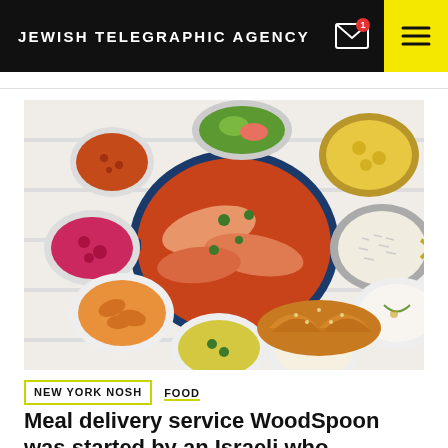JEWISH TELEGRAPHIC AGENCY
[Figure (photo): Overhead shot of a spread of Israeli/Jewish food on a white wooden table: a large blue Dutch oven with fish in tomato sauce garnished with herbs, surrounded by side dishes including pickled beets, glazed carrots, rice, green salad, yellow vegetable dish, white dip, rice salad, and a braided challah bread.]
NEW YORK NOSH   FOOD
Meal delivery service WoodSpoon was started by an Israeli who